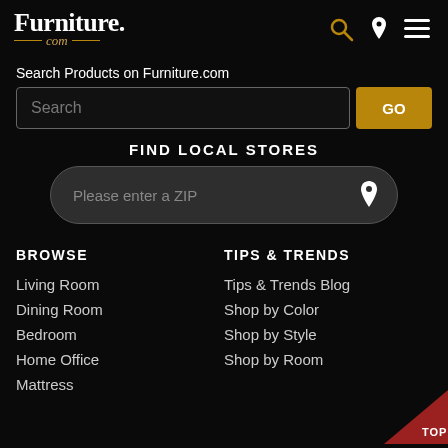[Figure (logo): Furniture.com logo with search, location, and menu icons in header]
Search Products on Furniture.com
[Figure (screenshot): Search input box with GO button]
FIND LOCAL STORES
[Figure (screenshot): ZIP code input field with location pin icon]
BROWSE
TIPS & TRENDS
Living Room
Dining Room
Bedroom
Home Office
Mattress
Tips & Trends Blog
Shop by Color
Shop by Style
Shop by Room